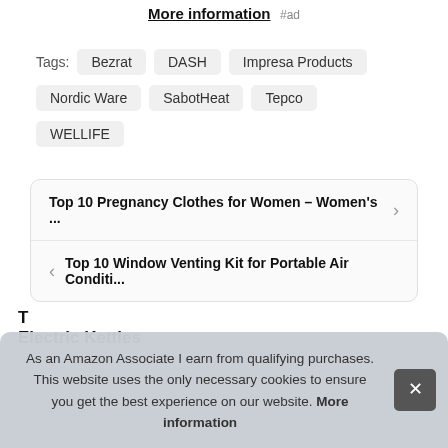More information #ad
Tags: Bezrat DASH Impresa Products Nordic Ware SabotHeat Tepco WELLIFE
Top 10 Pregnancy Clothes for Women – Women's ...
Top 10 Window Venting Kit for Portable Air Conditi...
As an Amazon Associate I earn from qualifying purchases. This website uses the only necessary cookies to ensure you get the best experience on our website. More information
T... Electric Kettles